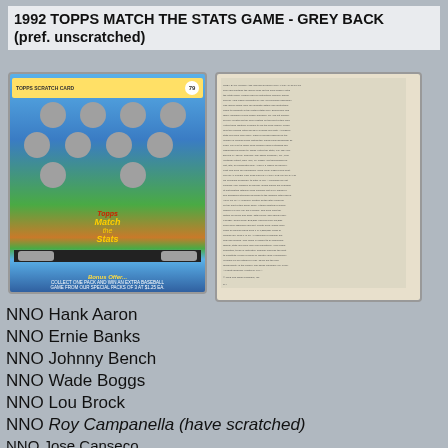1992 TOPPS MATCH THE STATS GAME - GREY BACK (pref. unscratched)
[Figure (photo): Image of 1992 Topps Match the Stats Game card - front (blue baseball diamond scratch card) and back (grey text side)]
NNO Hank Aaron
NNO Ernie Banks
NNO Johnny Bench
NNO Wade Boggs
NNO Lou Brock
NNO Roy Campanella (have scratched)
NNO Jose Canseco
NNO Rod Carew